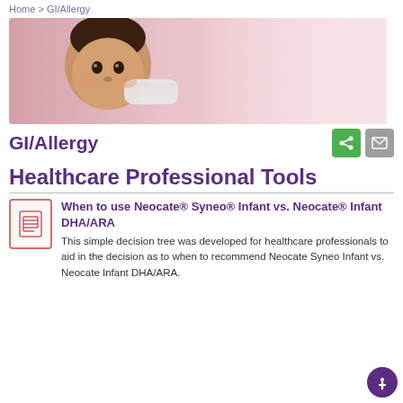Home > GI/Allergy
[Figure (photo): A baby being bottle-fed, with a pink background]
GI/Allergy
Healthcare Professional Tools
When to use Neocate® Syneo® Infant vs. Neocate® Infant DHA/ARA
This simple decision tree was developed for healthcare professionals to aid in the decision as to when to recommend Neocate Syneo Infant vs. Neocate Infant DHA/ARA.